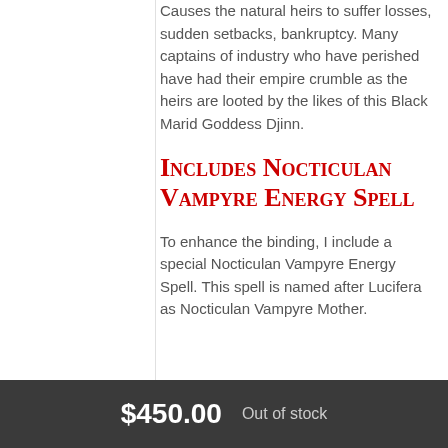Causes the natural heirs to suffer losses, sudden setbacks, bankruptcy. Many captains of industry who have perished have had their empire crumble as the heirs are looted by the likes of this Black Marid Goddess Djinn.
Includes Nocticulan Vampyre Energy Spell
To enhance the binding, I include a special Nocticulan Vampyre Energy Spell. This spell is named after Lucifera as Nocticulan Vampyre Mother.
$450.00  Out of stock